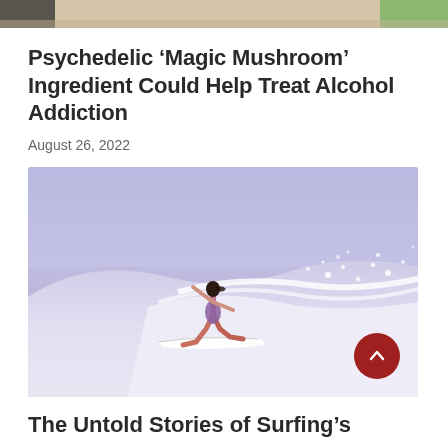[Figure (photo): Partial top image showing people, cropped at top of page]
Psychedelic ‘Magic Mushroom’ Ingredient Could Help Treat Alcohol Addiction
August 26, 2022
[Figure (photo): Woman surfer riding a wave on a surfboard, wearing a colorful swimsuit, water spray around her, vintage/film photo style with purple-blue tones]
The Untold Stories of Surfing’s